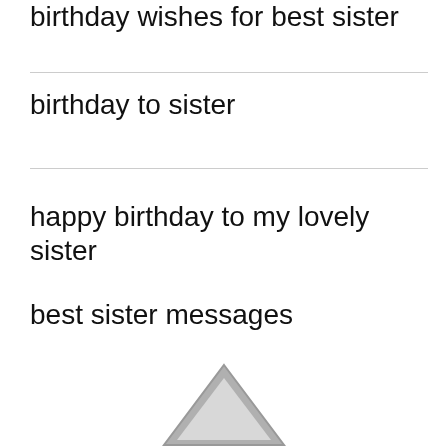birthday wishes for best sister
birthday to sister
happy birthday to my lovely sister
best sister messages
[Figure (other): A grey upward-pointing triangle arrow icon, partially visible at the bottom of the page, centered horizontally.]